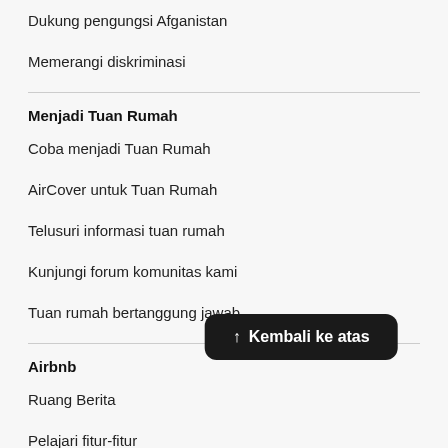Dukung pengungsi Afganistan
Memerangi diskriminasi
Menjadi Tuan Rumah
Coba menjadi Tuan Rumah
AirCover untuk Tuan Rumah
Telusuri informasi tuan rumah
Kunjungi forum komunitas kami
Tuan rumah bertanggung jawab
Airbnb
Ruang Berita
Pelajari fitur-fitur
Surat dari Para Pendiri Airbnb